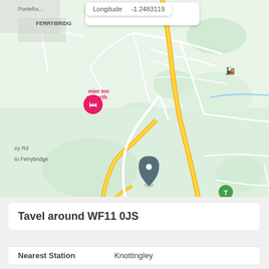[Figure (map): Google Maps view showing Knottingley area, Ferrybridge, A1 motorway junction, yellow motorway roads, map pin marker near Ferrybridge, labels including Knottingley, Weeland Rd, Wormersley Rd, The Wonkey, Stubbs Ln, Leys Ln, Leys Rd, Cridl Stub, Northfield, mier Inn ct North (Premier Inn), A1, and a tooltip showing Longitude -1.2483119]
Longitude   -1.2483119
Tavel around WF11 0JS
Nearest Station   Knottingley